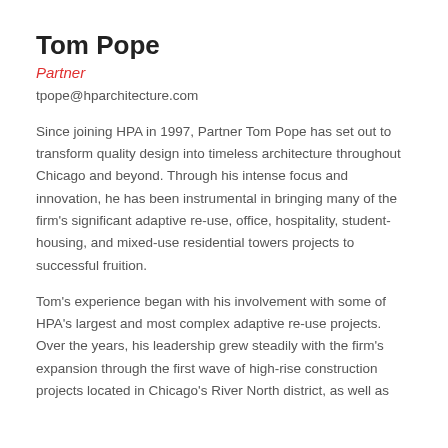Tom Pope
Partner
tpope@hparchitecture.com
Since joining HPA in 1997, Partner Tom Pope has set out to transform quality design into timeless architecture throughout Chicago and beyond. Through his intense focus and innovation, he has been instrumental in bringing many of the firm's significant adaptive re-use, office, hospitality, student-housing, and mixed-use residential towers projects to successful fruition.
Tom's experience began with his involvement with some of HPA's largest and most complex adaptive re-use projects. Over the years, his leadership grew steadily with the firm's expansion through the first wave of high-rise construction projects located in Chicago's River North district, as well as